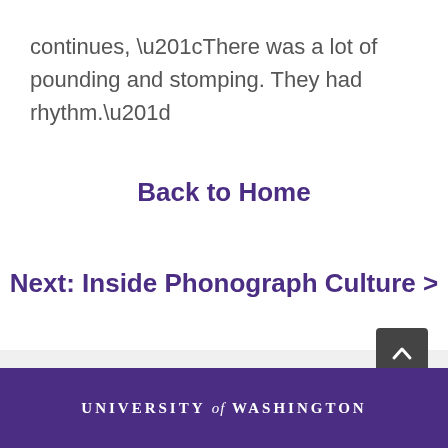continues, “There was a lot of pounding and stomping. They had rhythm.”
Back to Home
Next: Inside Phonograph Culture >
UNIVERSITY of WASHINGTON